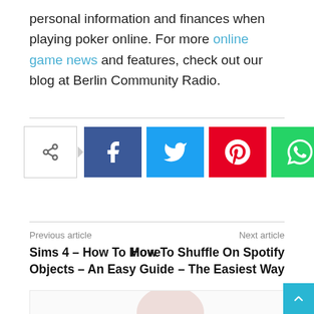personal information and finances when playing poker online. For more online game news and features, check out our blog at Berlin Community Radio.
[Figure (infographic): Social share bar with share toggle button and four social media buttons: Facebook (blue), Twitter (cyan), Pinterest (red), WhatsApp (green)]
Previous article
Sims 4 – How To Move Objects – An Easy Guide
Next article
How To Shuffle On Spotify – The Easiest Way
[Figure (photo): Partial image visible at bottom of page, light background with partial circular shape]